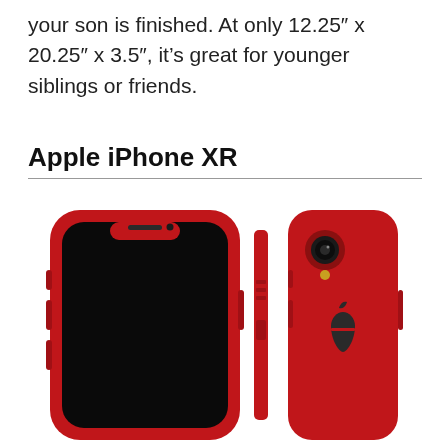your son is finished. At only 12.25″ x 20.25″ x 3.5″, it’s great for younger siblings or friends.
Apple iPhone XR
[Figure (photo): Product photo of Apple iPhone XR in red color, showing front view (black screen), side profile, and back view with Apple logo and single camera.]